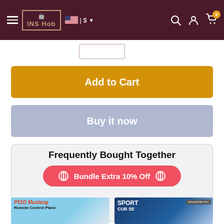INS Hob | $ | 0
Add to Cart
Buy it now
Frequently Bought Together
Bundle Extra 10% Off
[Figure (photo): P51D Mustang Remote Control Plane product thumbnail]
[Figure (photo): Sport Cub SE by Volantex RC product thumbnail]